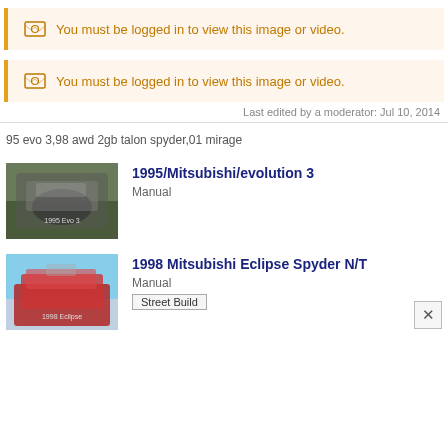[Figure (other): Login required banner with image icon: 'You must be logged in to view this image or video.']
[Figure (other): Login required banner with image icon: 'You must be logged in to view this image or video.']
Last edited by a moderator: Jul 10, 2014
95 evo 3,98 awd 2gb talon spyder,01 mirage
[Figure (photo): Thumbnail photo of a dark-colored car with hood open, 1995 Mitsubishi Evolution 3]
1995/Mitsubishi/evolution 3
Manual
[Figure (photo): Thumbnail photo of a red car with hood open, 1998 Mitsubishi Eclipse Spyder N/T]
1998 Mitsubishi Eclipse Spyder N/T
Manual
Street Build